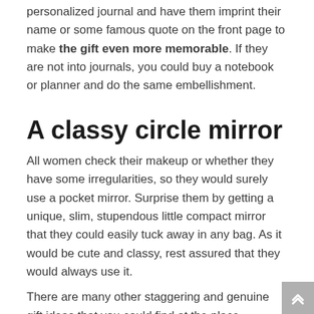personalized journal and have them imprint their name or some famous quote on the front page to make the gift even more memorable. If they are not into journals, you could buy a notebook or planner and do the same embellishment.
A classy circle mirror
All women check their makeup or whether they have some irregularities, so they would surely use a pocket mirror. Surprise them by getting a unique, slim, stupendous little compact mirror that they could easily tuck away in any bag. As it would be cute and classy, rest assured that they would always use it.
There are many other staggering and genuine gift ideas that you could find at the place